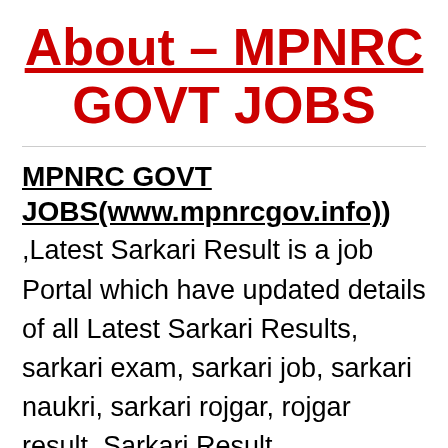About – MPNRC GOVT JOBS
MPNRC GOVT JOBS(www.mpnrcgov.info)
,Latest Sarkari Result is a job Portal which have updated details of all Latest Sarkari Results, sarkari exam, sarkari job, sarkari naukri, sarkari rojgar, rojgar result, Sarkari Result Scholarship, Admit